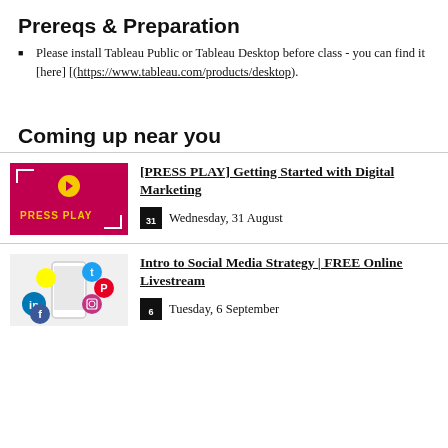Prereqs & Preparation
Please install Tableau Public or Tableau Desktop before class - you can find it [here] [(https://www.tableau.com/products/desktop).
Coming up near you
[Figure (photo): Press Play event thumbnail with magenta/red background and yellow PRESS PLAY text]
[PRESS PLAY] Getting Started with Digital Marketing
Wednesday, 31 August
[Figure (photo): Social media strategy event thumbnail showing a hand holding a phone with social media icons]
Intro to Social Media Strategy | FREE Online Livestream
Tuesday, 6 September